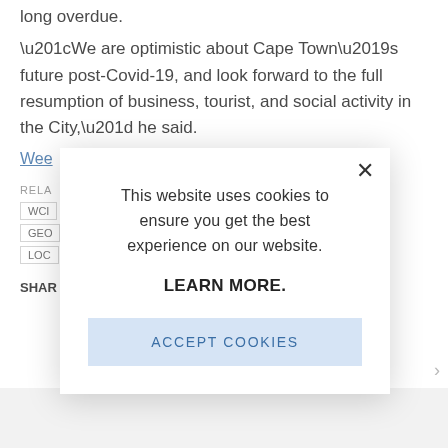long overdue.
“We are optimistic about Cape Town’s future post-Covid-19, and look forward to the full resumption of business, tourist, and social activity in the City,” he said.
Wee[kly Newsletter]
RELA[TED]
WC[...]
GEO[...]
LOC[...]
SHA[RE]
[Figure (screenshot): Cookie consent modal dialog overlaying a news article page. The modal contains the text 'This website uses cookies to ensure you get the best experience on our website.' followed by 'LEARN MORE.' in bold, and an 'ACCEPT COOKIES' button in a light blue rectangle. A close (X) button is in the top right corner of the modal.]